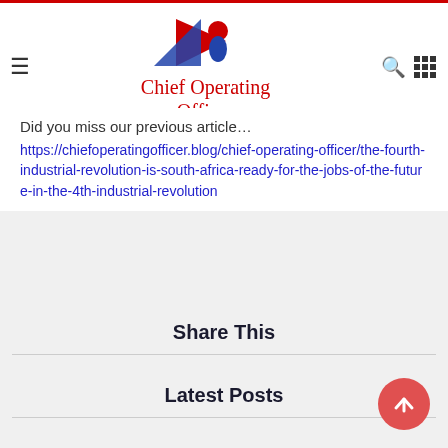Chief Operating Officer
Did you miss our previous article…
https://chiefoperatingofficer.blog/chief-operating-officer/the-fourth-industrial-revolution-is-south-africa-ready-for-the-jobs-of-the-future-in-the-4th-industrial-revolution
Share This
Latest Posts